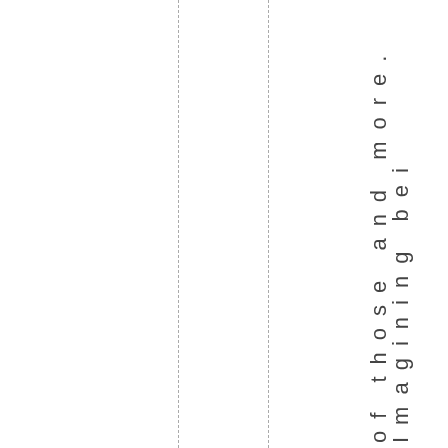of those and more. Imagining bei